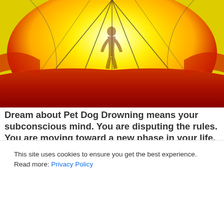[Figure (photo): Inside view of a colorful hot air balloon (yellow, red, orange) with a silhouette of a person visible through the fabric, shot from below looking up]
Dream about Pet Dog Drowning means your subconscious mind. You are disputing the rules. You are moving toward a new phase in your life. The dream states contentment and peace of mind. You need to listen up. Pet in
This site uses cookies to ensure you get the best experience. Read more: Privacy Policy
OK